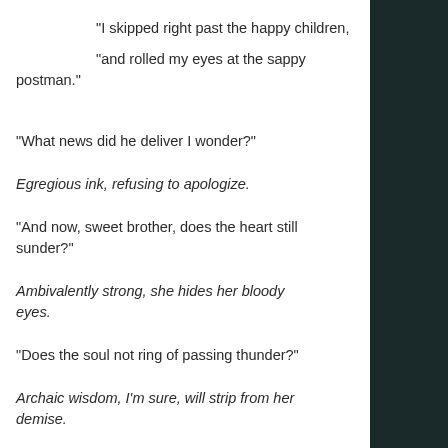“I skipped right past the happy children,
“and rolled my eyes at the sappy postman.”
“What news did he deliver I wonder?”
Egregious ink, refusing to apologize.
“And now, sweet brother, does the heart still sunder?”
Ambivalently strong, she hides her bloody eyes.
“Does the soul not ring of passing thunder?”
Archaic wisdom, I’m sure, will strip from her demise.